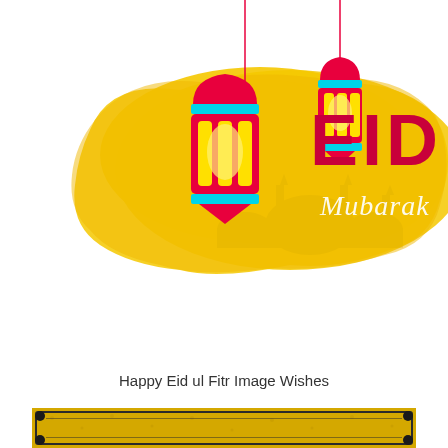[Figure (illustration): Eid Mubarak greeting card illustration: yellow watercolor brush stroke background with two hanging pink and yellow decorative lanterns on red strings, large bold crimson text 'EID' and cursive white text 'Mubarak', silhouette of mosque in background]
Happy Eid ul Fitr Image Wishes
[Figure (illustration): Bottom portion of a golden textured decorative frame/border with dark outline and circular corner ornaments, on a yellow patterned background]